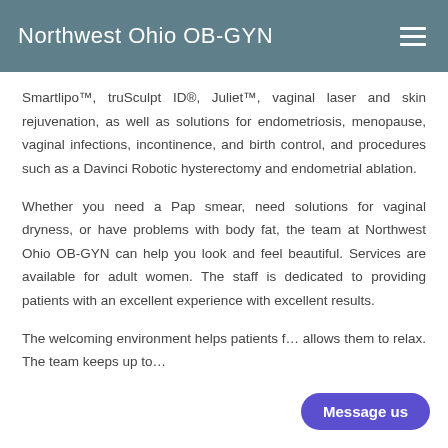Northwest Ohio OB-GYN
Smartlipo™, truSculpt ID®, Juliet™, vaginal laser and skin rejuvenation, as well as solutions for endometriosis, menopause, vaginal infections, incontinence, and birth control, and procedures such as a Davinci Robotic hysterectomy and endometrial ablation.
Whether you need a Pap smear, need solutions for vaginal dryness, or have problems with body fat, the team at Northwest Ohio OB-GYN can help you look and feel beautiful. Services are available for adult women. The staff is dedicated to providing patients with an excellent experience with excellent results.
The welcoming environment helps patients f… allows them to relax. The team keeps up to…